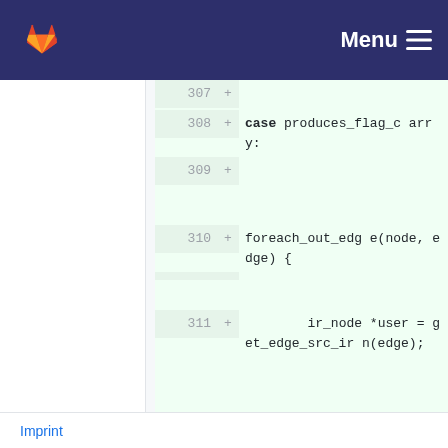GitLab Menu
[Figure (screenshot): GitLab diff view showing code lines 307-311 with added lines (green background). Line 308 contains 'case produces_flag_carry:', line 309 empty, line 310 contains 'foreach_out_edge(node, edge) {', line 310 empty, line 311 contains 'ir_node *user = get_edge_src_irn(edge);']
Imprint